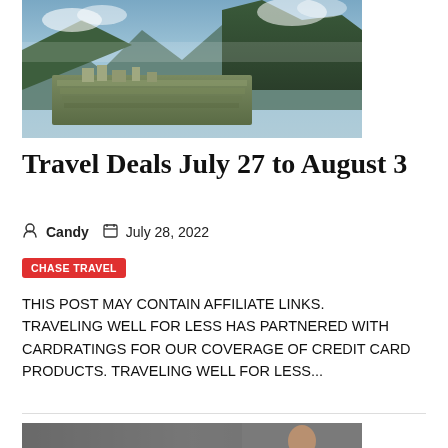[Figure (photo): Aerial view of Machu Picchu ruins set in green mountains with clouds]
Travel Deals July 27 to August 3
Candy   July 28, 2022
CHASE TRAVEL
THIS POST MAY CONTAIN AFFILIATE LINKS. TRAVELING WELL FOR LESS HAS PARTNERED WITH CARDRATINGS FOR OUR COVERAGE OF CREDIT CARD PRODUCTS. TRAVELING WELL FOR LESS...
[Figure (screenshot): News broadcast screenshot showing CAR CHASE banner, NESCOPECK BOROUGH, LUZERNE COUNTY chyron, with a person visible]